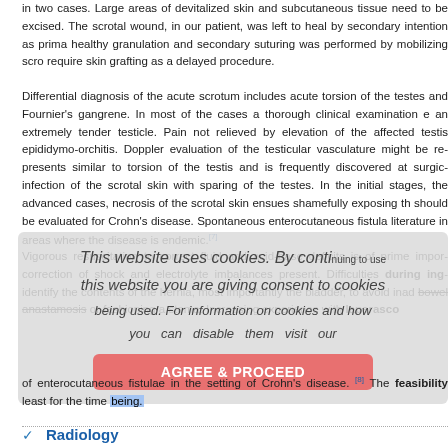in two cases. Large areas of devitalized skin and subcutaneous tissue need to be excised. The scrotal wound, in our patient, was left to heal by secondary intention as primary closure was not possible. healthy granulation and secondary suturing was performed by mobilizing scrotal skin but may require skin grafting as a delayed procedure.
Differential diagnosis of the acute scrotum includes acute torsion of the testes, epididymo-orchitis and Fournier's gangrene. In most of the cases a thorough clinical examination e an extremely tender testicle. Pain not relieved by elevation of the affected testis suggests epididymo-orchitis. Doppler evaluation of the testicular vasculature might be required. Fournier's gangrene presents similar to torsion of the testis and is frequently discovered at surgical exploration. It involves infection of the scrotal skin with sparing of the testes. In the initial stages, the skin appears normal but in advanced cases, necrosis of the scrotal skin ensues shamefully exposing the testes. All patients should be evaluated for Crohn's disease. Spontaneous enterocutaneous fistula formation is reported in the literature in areas where the disease is endemic.[7]
Vigorous resuscitation to correct fluid and acid-base deficits is of prime importance, along with correction of shock and electrolyte imbalances present. Difficulties during inguinal hernia repairs to identify the contents of the hernia, most importantly the bladder, to avoid inadvertent injury require bowel anastomosis or fashioning a stoma. Increasing experience with laparasco of enterocutaneous fistulae in the setting of Crohn's disease.[8] The feasibility least for the time being.
[Figure (infographic): Cookie consent overlay with text 'This website uses cookies. By continuing to use this website you are giving consent to cookies being used. For information on cookies and how you can disable them visit our' and an AGREE & PROCEED button]
Radiology